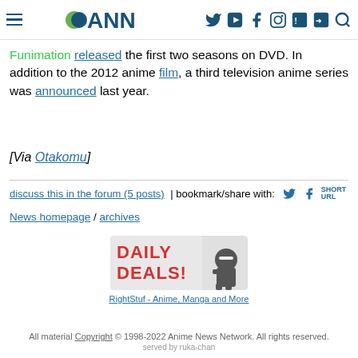ANN
Funimation released the first two seasons on DVD. In addition to the 2012 anime film, a third television anime series was announced last year.
[Via Otakomu]
discuss this in the forum (5 posts) | bookmark/share with:
News homepage / archives
[Figure (illustration): Daily Deals banner advertisement with ninja character for RightStuf - Anime, Manga and More]
RightStuf - Anime, Manga and More
All material Copyright © 1998-2022 Anime News Network. All rights reserved. served by ruka-chan